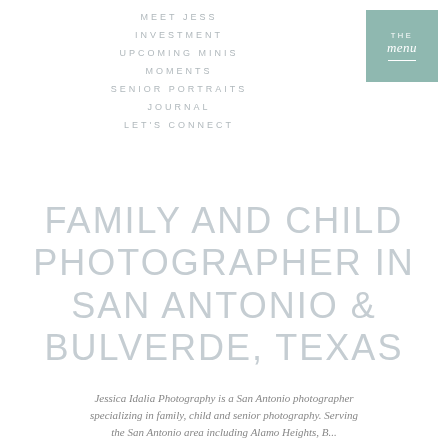MEET JESS
INVESTMENT
UPCOMING MINIS
MOMENTS
SENIOR PORTRAITS
JOURNAL
LET'S CONNECT
[Figure (other): Navigation menu button with teal/sage green background, text reading 'THE menu' with a horizontal line separator, white text]
FAMILY AND CHILD PHOTOGRAPHER IN SAN ANTONIO & BULVERDE, TEXAS
Jessica Idalia Photography is a San Antonio photographer specializing in family, child and senior photography. Serving the San Antonio area including Alamo Heights, B...